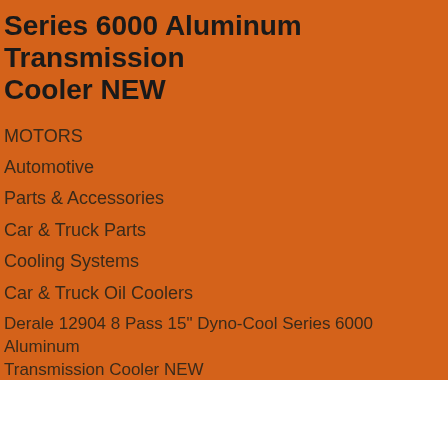Series 6000 Aluminum Transmission Cooler NEW
MOTORS
Automotive
Parts & Accessories
Car & Truck Parts
Cooling Systems
Car & Truck Oil Coolers
Derale 12904 8 Pass 15" Dyno-Cool Series 6000 Aluminum Transmission Cooler NEW